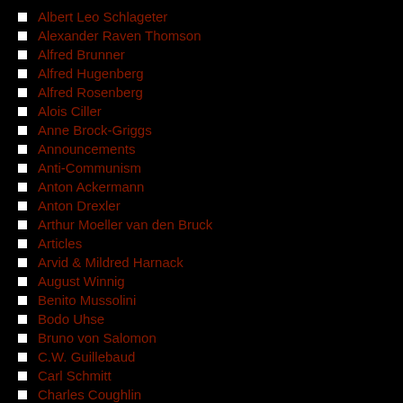Albert Leo Schlageter
Alexander Raven Thomson
Alfred Brunner
Alfred Hugenberg
Alfred Rosenberg
Alois Ciller
Anne Brock-Griggs
Announcements
Anti-Communism
Anton Ackermann
Anton Drexler
Arthur Moeller van den Bruck
Articles
Arvid & Mildred Harnack
August Winnig
Benito Mussolini
Bodo Uhse
Bruno von Salomon
C.W. Guillebaud
Carl Schmitt
Charles Coughlin
Christian Socialist
Claus Heim